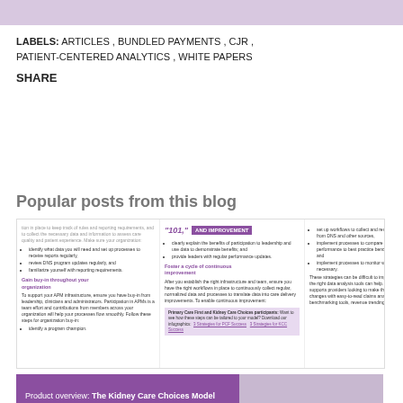LABELS: ARTICLES , BUNDLED PAYMENTS , CJR , PATIENT-CENTERED ANALYTICS , WHITE PAPERS
SHARE
Popular posts from this blog
[Figure (screenshot): Thumbnail of a blog post about APM infrastructure with sections on gaining buy-in, data workflows, and continuous improvement with purple branding.]
[Figure (screenshot): Thumbnail of a Product overview article: The Kidney Care Choices Model, with purple header and a medical photo.]